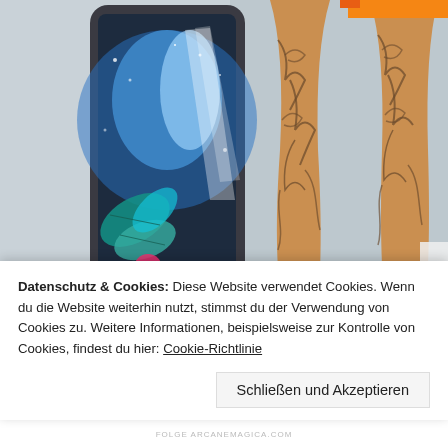[Figure (illustration): Two-panel digital artwork: left panel shows a stylized smartphone/screen with glowing blue sci-fi/nature imagery (leaves, light beams, pink flower); right panel shows the legs of a 3D-rendered woman in high-heel black platform boots with dark tattoo-like patterns on tan skin, wearing an orange outfit, against a snowy/foggy background.]
Datenschutz & Cookies: Diese Website verwendet Cookies. Wenn du die Website weiterhin nutzt, stimmst du der Verwendung von Cookies zu. Weitere Informationen, beispielsweise zur Kontrolle von Cookies, findest du hier: Cookie-Richtlinie
Schließen und Akzeptieren